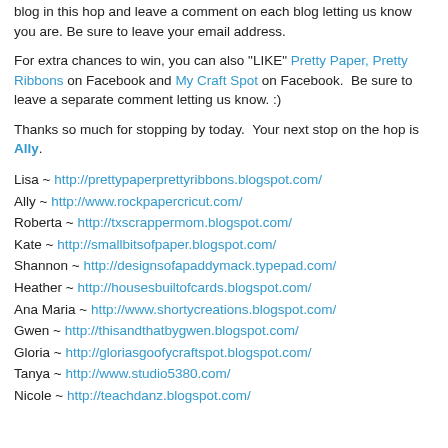blog in this hop and leave a comment on each blog letting us know you are. Be sure to leave your email address.
For extra chances to win, you can also "LIKE" Pretty Paper, Pretty Ribbons on Facebook and My Craft Spot on Facebook.  Be sure to leave a separate comment letting us know. :)
Thanks so much for stopping by today.  Your next stop on the hop is Ally.
Lisa ~ http://prettypaperprettyribbons.blogspot.com/
Ally ~ http://www.rockpapercricut.com/
Roberta ~ http://txscrappermom.blogspot.com/
Kate ~ http://smallbitsofpaper.blogspot.com/
Shannon ~ http://designsofapaddymack.typepad.com/
Heather ~ http://housesbuiltofcards.blogspot.com/
Ana Maria ~ http://www.shortycreations.blogspot.com/
Gwen ~ http://thisandthatbygwen.blogspot.com/
Gloria ~ http://gloriasgoofycraftspot.blogspot.com/
Tanya ~ http://www.studio5380.com/
Nicole ~ http://teachdanz.blogspot.com/